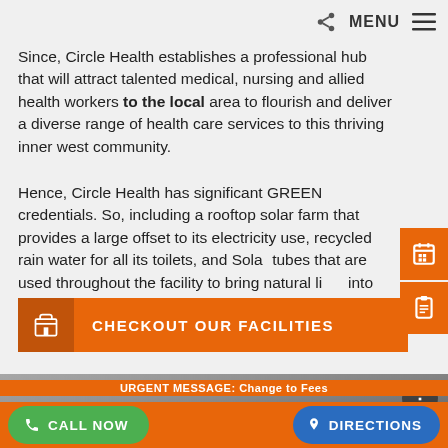MENU
Since, Circle Health establishes a professional hub that will attract talented medical, nursing and allied health workers to the local area to flourish and deliver a diverse range of health care services to this thriving inner west community.
Hence, Circle Health has significant GREEN credentials. So, including a rooftop solar farm that provides a large offset to its electricity use, recycled rain water for all its toilets, and Solar tubes that are used throughout the facility to bring natural light into the building. So, we strive to do our bit to help the Environment.
[Figure (other): Orange button: CHECKOUT OUR FACILITIES with building icon]
[Figure (other): Video thumbnail with nifty logo and Circle Health text]
CALL NOW | URGENT MESSAGE: Change to Fees | DIRECTIONS